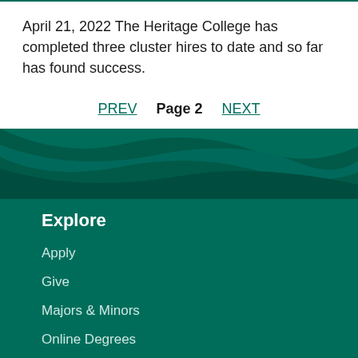April 21, 2022 The Heritage College has completed three cluster hires to date and so far has found success.
PREV  Page 2  NEXT
[Figure (illustration): Dark teal/green wave decorative banner dividing content area from footer]
Explore
Apply
Give
Majors & Minors
Online Degrees